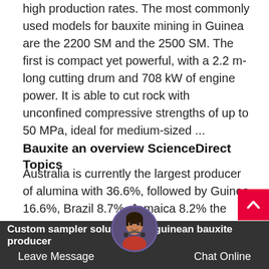high production rates. The most commonly used models for bauxite mining in Guinea are the 2200 SM and the 2500 SM. The first is compact yet powerful, with a 2.2 m-long cutting drum and 708 kW of engine power. It is able to cut rock with unconfined compressive strengths of up to 50 MPa, ideal for medium-sized ...
Bauxite an overview ScienceDirect Topics
Australia is currently the largest producer of alumina with 36.6%, followed by Guinea 16.6%, Brazil 8.7%, Jamaica 8.2% the former Soviet Union 4.6%, India 3.9%, etc. Bauxite is easy to mine by open-cast methods since it occurs typically in broad layers 3–10 m thick with very little topsoil or other overburden.
Custom sampler solutions for guinean bauxite producer
Leave Message
Chat Online